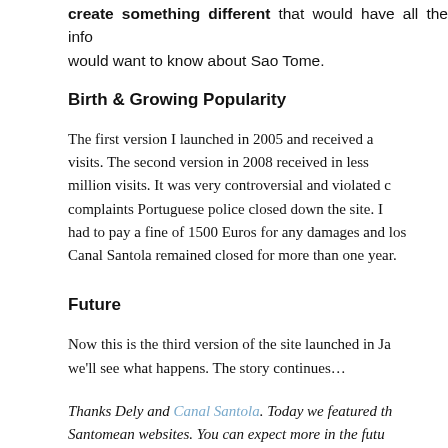create something different that would have all the info would want to know about Sao Tome.
Birth & Growing Popularity
The first version I launched in 2005 and received a visits. The second version in 2008 received in less million visits. It was very controversial and violated c complaints Portuguese police closed down the site. I had to pay a fine of 1500 Euros for any damages and los Canal Santola remained closed for more than one year.
Future
Now this is the third version of the site launched in Ja we'll see what happens. The story continues…
Thanks Dely and Canal Santola. Today we featured th Santomean websites. You can expect more in the futu